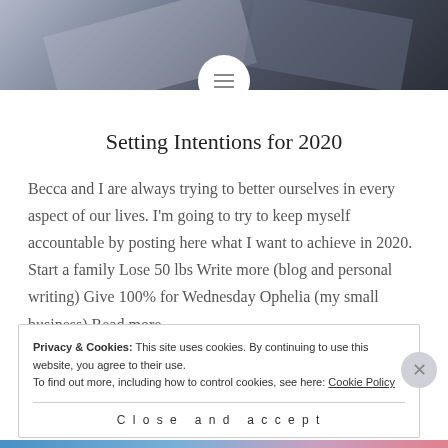[Figure (photo): Top banner with dark blurred photographic background showing geometric shapes, with a white circular menu button centered at the bottom of the banner]
Setting Intentions for 2020
Becca and I are always trying to better ourselves in every aspect of our lives. I'm going to try to keep myself accountable by posting here what I want to achieve in 2020. Start a family Lose 50 lbs Write more (blog and personal writing) Give 100% for Wednesday Ophelia (my small business) Read more...
Privacy & Cookies: This site uses cookies. By continuing to use this website, you agree to their use.
To find out more, including how to control cookies, see here: Cookie Policy
Close and accept